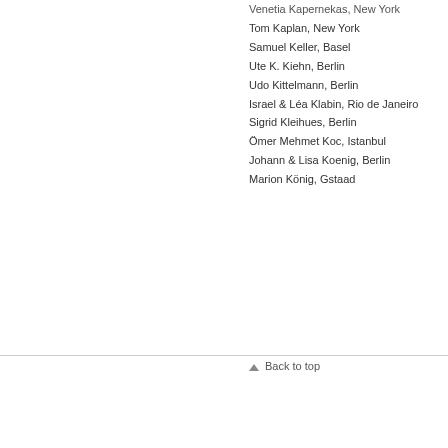Venetia Kapernekas, New York
Tom Kaplan, New York
Samuel Keller, Basel
Ute K. Kiehn, Berlin
Udo Kittelmann, Berlin
Israel & Léa Klabin, Rio de Janeiro
Sigrid Kleihues, Berlin
Ömer Mehmet Koc, Istanbul
Johann & Lisa Koenig, Berlin
Marion König, Gstaad
Back to top